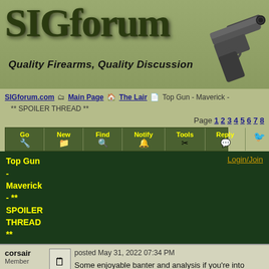[Figure (logo): SIGforum logo with stylized metallic green text and a handgun image on the right. Subtitle reads 'Quality Firearms, Quality Discussion']
SIGforum.com / Main Page / The Lair / Top Gun - Maverick - ** SPOILER THREAD **
Page 1 2 3 4 5 6 7 8
Go New Find Notify Tools Reply (toolbar buttons)
Top Gun - Maverick - ** SPOILER THREAD **
Login/Join
corsair Member posted May 31, 2022 07:34 PM
Some enjoyable banter and analysis if you're into pulling it apart
Jell-O has already put out a number of podcast/recordings regard